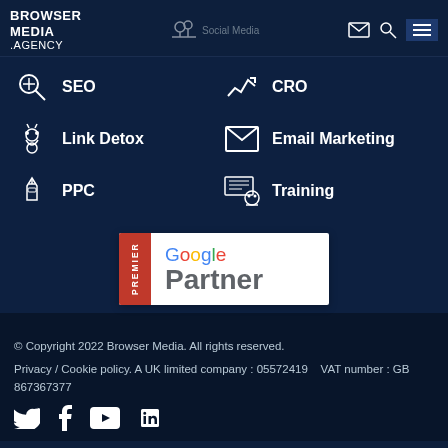BROWSER MEDIA .AGENCY
SEO
CRO
Link Detox
Email Marketing
PPC
Training
[Figure (logo): Google Premier Partner badge with red PREMIER sidebar and Google Partner text]
© Copyright 2022 Browser Media. All rights reserved. Privacy / Cookie policy. A UK limited company : 05572419    VAT number : GB 867367377